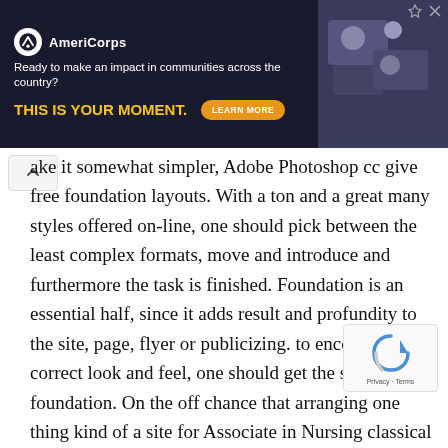[Figure (screenshot): AmeriCorps advertisement banner with dark navy background, logo, tagline 'Ready to make an impact in communities across the country?', bold yellow text 'THIS IS YOUR MOMENT.', orange 'LEARN MORE' button, and a photo of people on the right side.]
ake it somewhat simpler, Adobe Photoshop cc give free foundation layouts. With a ton and a great many styles offered on-line, one should pick between the least complex formats, move and introduce and furthermore the task is finished. Foundation is an essential half, since it adds result and profundity to the site, page, flyer or publicizing. to encourage the correct look and feel, one should get the satisfactory foundation. On the off chance that arranging one thing kind of a site for Associate in Nursing classical look, a vintage foundation could be an ought to have.
Likewise, a tasteful chase for a marriage organizer's